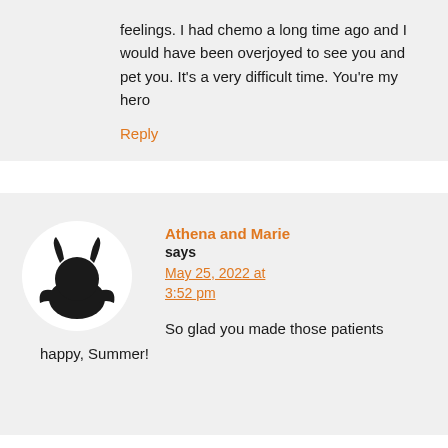feelings. I had chemo a long time ago and I would have been overjoyed to see you and pet you. It’s a very difficult time. You’re my hero
Reply
Athena and Marie says May 25, 2022 at 3:52 pm
So glad you made those patients happy, Summer!